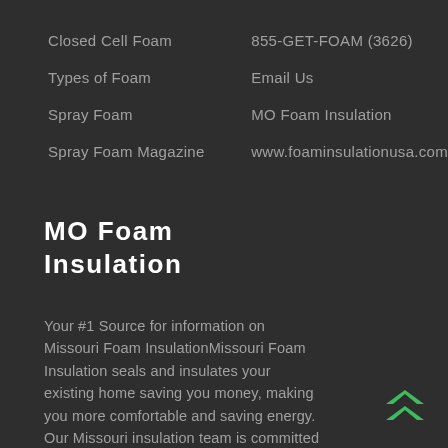Closed Cell Foam
Types of Foam
Spray Foam
Spray Foam Magazine
855-GET-FOAM (3626)
Email Us
MO Foam Insulation
www.foaminsulationusa.com
MO Foam Insulation
Your #1 Source for information on Missouri Foam InsulationMissouri Foam Insulation seals and insulates your existing home saving you money, making you more comfortable and saving energy. Our Missouri insulation team is committed to providing the highest level of customer satisfaction. We look forward to assisting